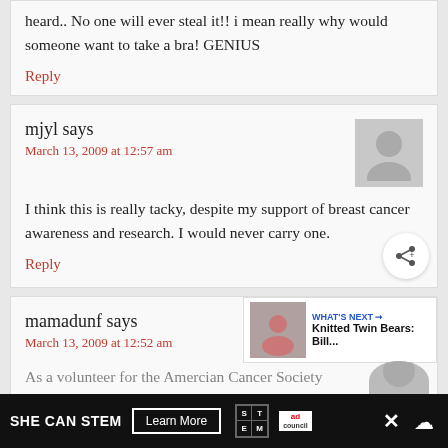heard.. No one will ever steal it!! i mean really why would someone want to take a bra! GENIUS
Reply
mjyl says
March 13, 2009 at 12:57 am
I think this is really tacky, despite my support of breast cancer awareness and research. I would never carry one.
Reply
mamadunf says
March 13, 2009 at 12:52 am
As a volunteer for the Amercian Cancer Society
WHAT'S NEXT → Knitted Twin Bears: Bill...
SHE CAN STEM  Learn More